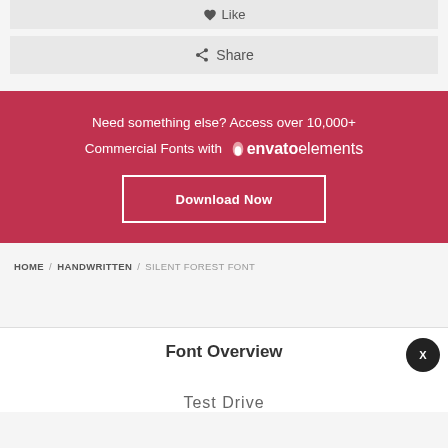[Figure (screenshot): Like button with heart icon on light gray background]
[Figure (screenshot): Share button with arrow icon on light gray background]
[Figure (infographic): Envato Elements promotional banner with dark red/crimson background. Text reads: Need something else? Access over 10,000+ Commercial Fonts with envato elements. Download Now button.]
HOME / HANDWRITTEN / SILENT FOREST FONT
Font Overview
Test Drive